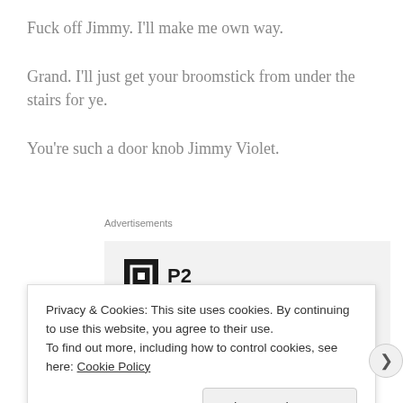Fuck off Jimmy. I'll make me own way.
Grand. I'll just get your broomstick from under the stairs for ye.
You're such a door knob Jimmy Violet.
[Figure (screenshot): Advertisement banner showing P2 logo and text 'Getting your team on' with grey background]
Privacy & Cookies: This site uses cookies. By continuing to use this website, you agree to their use.
To find out more, including how to control cookies, see here: Cookie Policy
Close and accept